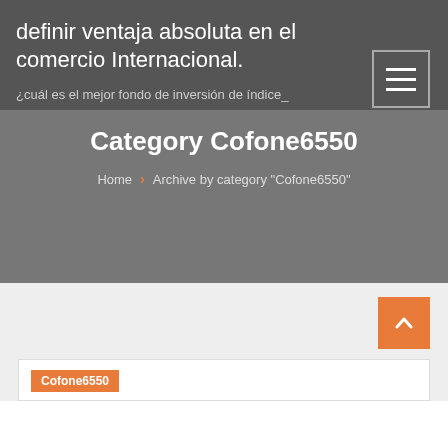definir ventaja absoluta en el comercio Internacional.
¿cuál es el mejor fondo de inversión de índice_
Category Cofone6550
Home › Archive by category "Cofone6550"
Cofone6550